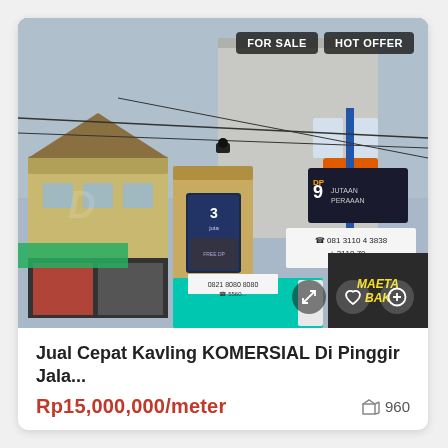[Figure (photo): Street-level photo of a commercial area in Indonesia showing shophouses, billboards advertising real estate (e.g. '3 juta', '9 Juta', phone numbers like 0821 8080 8080), and a multi-story building in the background. 'FOR SALE' and 'HOT OFFER' badges visible in top-right of image.]
Jual Cepat Kavling KOMERSIAL Di Pinggir Jala...
Rp15,000,000/meter
960